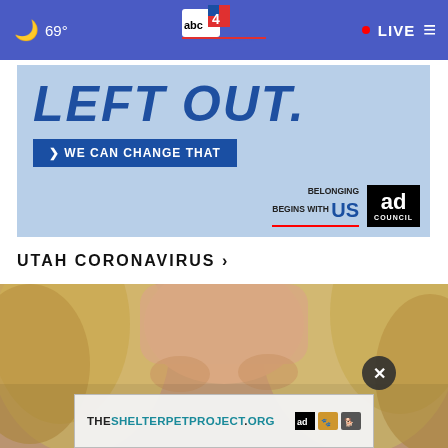69° abc4.com LIVE
[Figure (screenshot): Advertisement banner with light blue background. Large bold italic text reads 'LEFT OUT.' in dark blue. Below is a dark blue button reading '> WE CAN CHANGE THAT'. Bottom right shows 'BELONGING BEGINS WITH US' logo and 'ad council' black box logo.]
UTAH CORONAVIRUS ›
[Figure (photo): Close-up photo of a blonde woman, only the top half of her face visible. An overlay ad at the bottom reads 'THESHELTERPETPROJECT.ORG' with ad council icons. A dark circular close (×) button is visible above the overlay ad.]